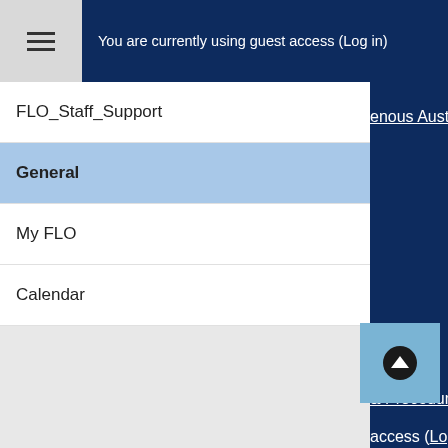You are currently using guest access (Log in)
FLO_Staff_Support
General
My FLO
Calendar
enous Australians
& Procedures
access (Log in)
ity
edu.au